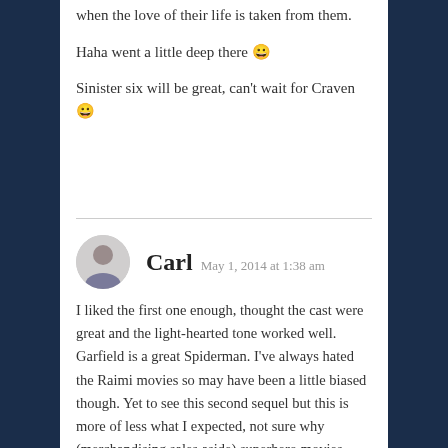when the love of their life is taken from them.
Haha went a little deep there 😀
Sinister six will be great, can't wait for Craven 😀
Carl  May 1, 2014 at 1:38 am
I liked the first one enough, thought the cast were great and the light-hearted tone worked well. Garfield is a great Spiderman. I've always hated the Raimi movies so may have been a little biased though. Yet to see this second sequel but this is more of less what I expected, not sure why (merchandising sales aside) superhero movies continue stuffing in the villains, it's been problematic ever since